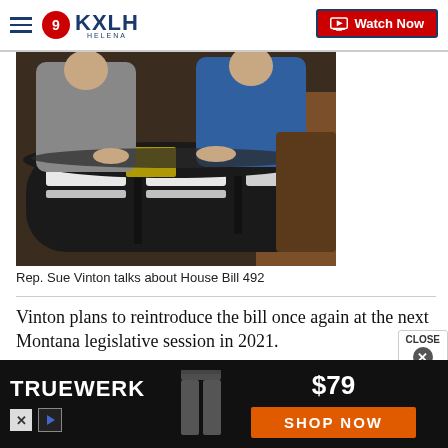9 KXLH Helena — Watch Now
[Figure (photo): Two people sitting at a curved news anchor desk in a TV studio. One person in grey, one in blue. The desk has illuminated white panels.]
Rep. Sue Vinton talks about House Bill 492
Vinton plans to reintroduce the bill once again at the next Montana legislative session in 2021.
"The real tests will be in the implementation and when someone is actually given a citation. Will they contest that citation? And then, will the court uphold the
[Figure (other): TRUEWERK advertisement banner. Shows pants product at $79 with SHOP NOW orange button.]